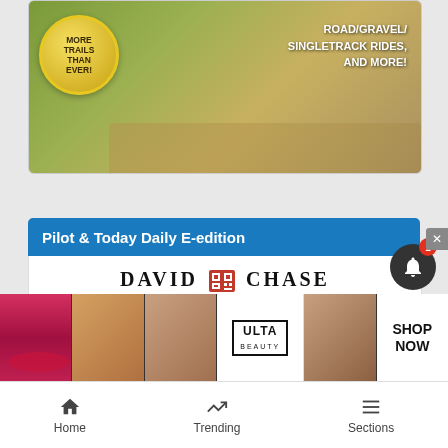[Figure (photo): Advertisement banner showing cycling trails with text 'MORE TRAILS THAN EVER!' and 'ROAD/GRAVEL/SINGLETRACK RIDES, AND MORE!']
Pilot & Today Daily E-edition
[Figure (screenshot): Steamboat Pilot & Today newspaper e-edition thumbnail with David Chase branding, Weekend Edition Saturday masthead, and headline 'Federal dollars target']
[Figure (photo): Ulta Beauty advertisement strip with makeup imagery and 'SHOP NOW' call to action]
Home   Trending   Sections